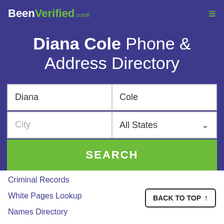BeenVerified.com
Diana Cole Phone & Address Directory
[Figure (screenshot): Search form with first name 'Diana', last name 'Cole', City placeholder, and All States dropdown, plus a green SEARCH button]
Criminal Records
White Pages Lookup
Names Directory